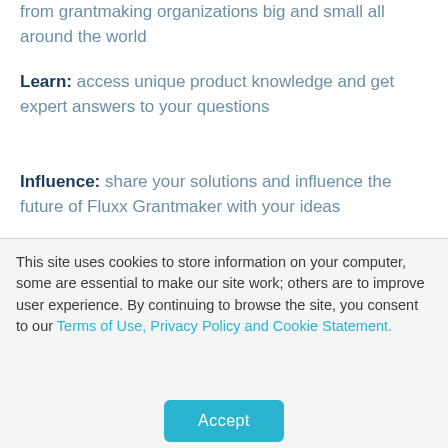from grantmaking organizations big and small all around the world
Learn: access unique product knowledge and get expert answers to your questions
Influence: share your solutions and influence the future of Fluxx Grantmaker with your ideas
This site uses cookies to store information on your computer, some are essential to make our site work; others are to improve user experience. By continuing to browse the site, you consent to our Terms of Use, Privacy Policy and Cookie Statement.
Accept